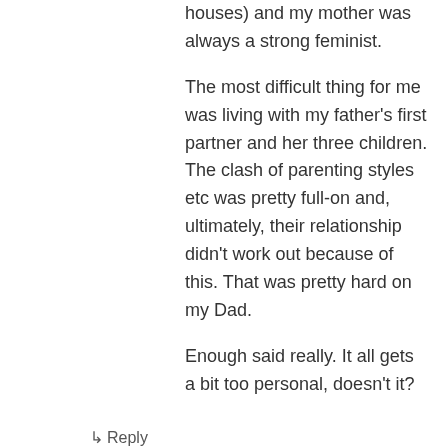houses) and my mother was always a strong feminist.
The most difficult thing for me was living with my father’s first partner and her three children. The clash of parenting styles etc was pretty full-on and, ultimately, their relationship didn’t work out because of this. That was pretty hard on my Dad.
Enough said really. It all gets a bit too personal, doesn’t it?
↳ Reply
Deborah on June 5, 2009 at 1:47 am
Fascinating comments, Stef. Thank you!